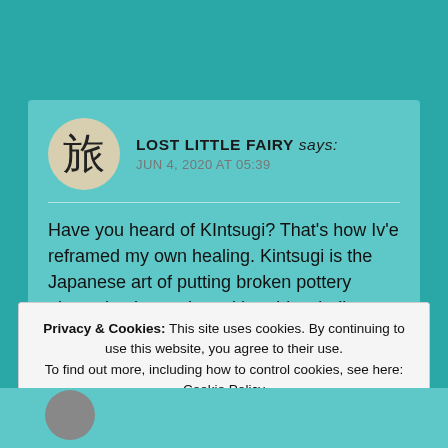[Figure (screenshot): A blog comment card on a teal background. Avatar shows Japanese kanji character 旅. Username 'LOST LITTLE FAIRY says:' with date 'JUN 4, 2020 AT 05:39'. Comment text about Kintsugi. Overlaid by a cookie consent banner with 'Close and accept' button.]
LOST LITTLE FAIRY says:
JUN 4, 2020 AT 05:39
Have you heard of KIntsugi? That's how Iv'e reframed my own healing. Kintsugi is the Japanese art of putting broken pottery pieces back together with gold — built on the idea that in embracing flaws and imperfections, you can create an even stronger, more beautiful piece of art. Love and light
Privacy & Cookies: This site uses cookies. By continuing to use this website, you agree to their use. To find out more, including how to control cookies, see here: Cookie Policy
Close and accept